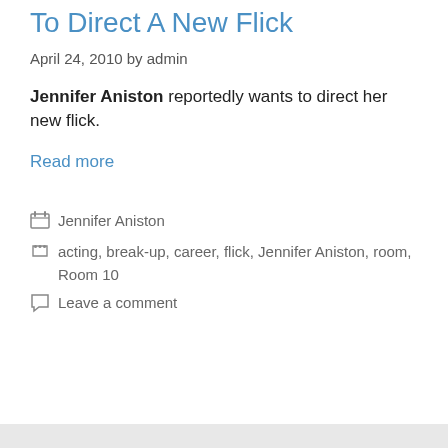To Direct A New Flick
April 24, 2010 by admin
Jennifer Aniston reportedly wants to direct her new flick.
Read more
Jennifer Aniston
acting, break-up, career, flick, Jennifer Aniston, room, Room 10
Leave a comment